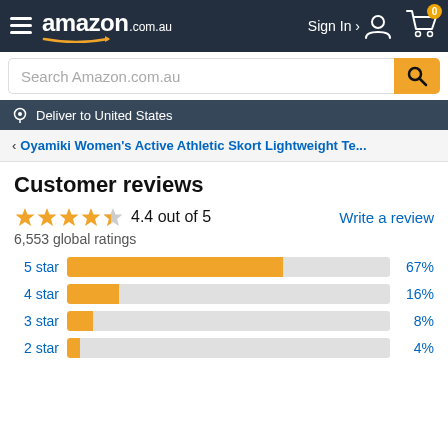amazon.com.au — Sign In — Cart 0
Search Amazon.com.au
Deliver to United States
< Oyamiki Women's Active Athletic Skort Lightweight Te...
Customer reviews
4.4 out of 5
Write a review
6,553 global ratings
[Figure (bar-chart): Star rating distribution]